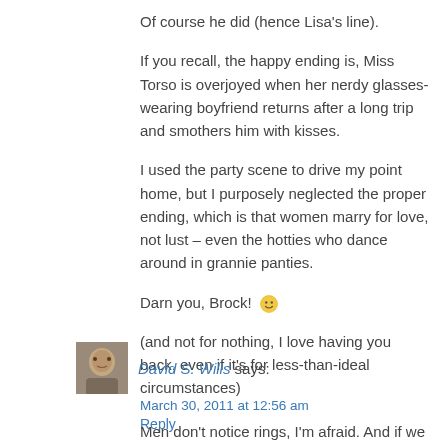Of course he did (hence Lisa's line).
If you recall, the happy ending is, Miss Torso is overjoyed when her nerdy glasses-wearing boyfriend returns after a long trip and smothers him with kisses.
I used the party scene to drive my point home, but I purposely neglected the proper ending, which is that women marry for love, not lust – even the hotties who dance around in grannie panties.
Darn you, Brock! 🙂
(and not for nothing, I love having you back, even if it's for less-than-ideal circumstances)
Reply
20. David S. Wills says:
March 30, 2011 at 12:56 am
Men don't notice rings, I'm afraid. And if we do – after